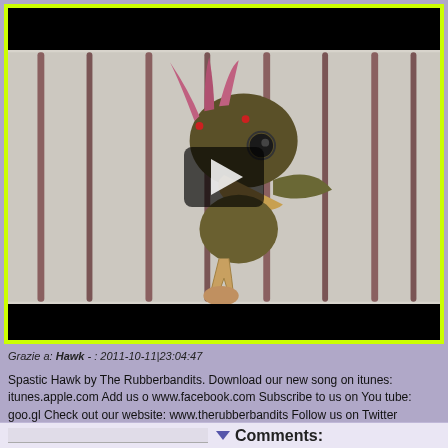[Figure (screenshot): Video player screenshot showing an animated cartoon bird (hawk) behind cage bars with a yellow-green border and play button overlay. Top and bottom black bars visible.]
Grazie a: Hawk - : 2011-10-11|23:04:47
Spastic Hawk by The Rubberbandits. Download our new song on itunes: itunes.apple.com Add us on www.facebook.com Subscribe to us on You tube: goo.gl Check out our website: www.therubberbandits.com Follow us on Twitter twitter.com Gig Tickets www.ticketmaster.ie
Comments: